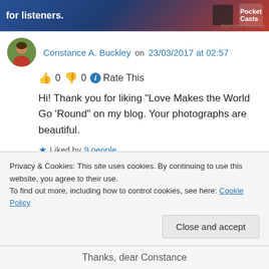[Figure (screenshot): Advertisement banner for Pocket Casts with text 'for listeners.' and a smartphone image on dark background]
REPORT THIS AD
Constance A. Buckley on 23/03/2017 at 02:57
👍 0 👎 0 ℹ Rate This
Hi! Thank you for liking “Love Makes the World Go ‘Round” on my blog. Your photographs are beautiful.
★ Liked by 9 people
Log in to Reply
Privacy & Cookies: This site uses cookies. By continuing to use this website, you agree to their use.
To find out more, including how to control cookies, see here: Cookie Policy
Close and accept
Thanks, dear Constance